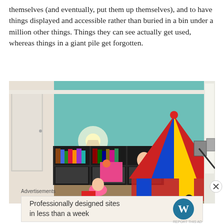themselves (and eventually, put them up themselves), and to have things displayed and accessible rather than buried in a bin under a million other things. Things they can see actually get used, whereas things in a giant pile get forgotten.
[Figure (photo): A children's playroom with teal/mint green walls. A dark bookshelf with books and toys is against the left wall, a lamp is in the corner, and a colorful circus/carnival tent is on the right side of the room. Two young children are visible playing on the carpet floor.]
Advertisements
Professionally designed sites in less than a week